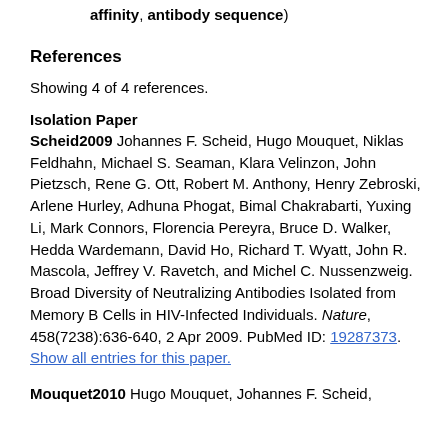affinity, antibody sequence)
References
Showing 4 of 4 references.
Isolation Paper
Scheid2009 Johannes F. Scheid, Hugo Mouquet, Niklas Feldhahn, Michael S. Seaman, Klara Velinzon, John Pietzsch, Rene G. Ott, Robert M. Anthony, Henry Zebroski, Arlene Hurley, Adhuna Phogat, Bimal Chakrabarti, Yuxing Li, Mark Connors, Florencia Pereyra, Bruce D. Walker, Hedda Wardemann, David Ho, Richard T. Wyatt, John R. Mascola, Jeffrey V. Ravetch, and Michel C. Nussenzweig. Broad Diversity of Neutralizing Antibodies Isolated from Memory B Cells in HIV-Infected Individuals. Nature, 458(7238):636-640, 2 Apr 2009. PubMed ID: 19287373. Show all entries for this paper.
Mouquet2010 Hugo Mouquet, Johannes F. Scheid,